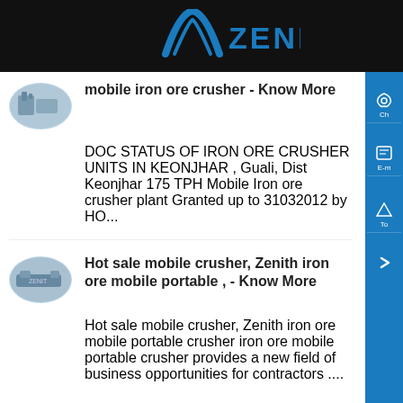ZENIT
mobile iron ore crusher - Know More
DOC STATUS OF IRON ORE CRUSHER UNITS IN KEONJHAR , Guali, Dist Keonjhar 175 TPH Mobile Iron ore crusher plant Granted up to 31032012 by HO...
Hot sale mobile crusher, Zenith iron ore mobile portable , - Know More
Hot sale mobile crusher, Zenith iron ore mobile portable crusher iron ore mobile portable crusher provides a new field of business opportunities for contractors ....